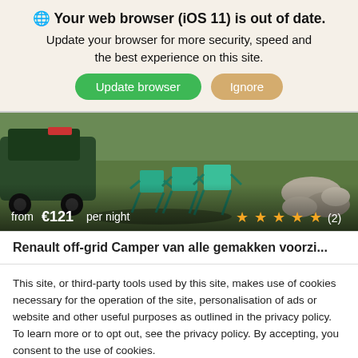🌐 Your web browser (iOS 11) is out of date. Update your browser for more security, speed and the best experience on this site.
[Figure (photo): Outdoor campsite photo showing folding camping chairs on grass near a vehicle and rocks, with price overlay 'from €121 per night' and 5 star rating (2 reviews)]
Renault off-grid Camper van alle gemakken voorzi...
This site, or third-party tools used by this site, makes use of cookies necessary for the operation of the site, personalisation of ads or website and other useful purposes as outlined in the privacy policy. To learn more or to opt out, see the privacy policy. By accepting, you consent to the use of cookies.
Privacy policy
Manage my cookies | Accept All